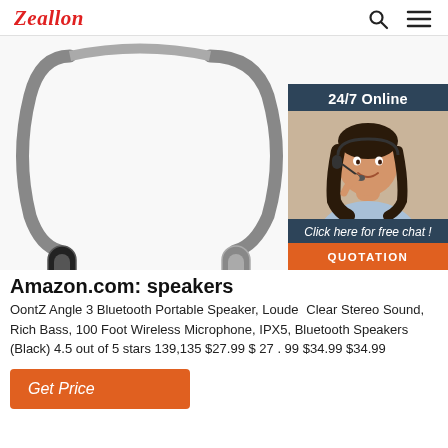Zeallon
[Figure (photo): Neckband bluetooth earphone/speaker product photo on white background, with a 24/7 Online chat widget overlay in the top right showing a woman with a headset, 'Click here for free chat!' text, and a QUOTATION button]
Amazon.com: speakers
OontZ Angle 3 Bluetooth Portable Speaker, Louder Clear Stereo Sound, Rich Bass, 100 Foot Wireless Microphone, IPX5, Bluetooth Speakers (Black) 4.5 out of 5 stars 139,135 $27.99 $ 27 . 99 $34.99 $34.99
Get Price